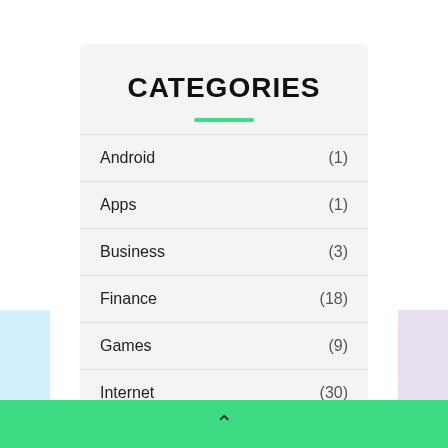CATEGORIES
Android (1)
Apps (1)
Business (3)
Finance (18)
Games (9)
Internet (30)
iOS (1)
^